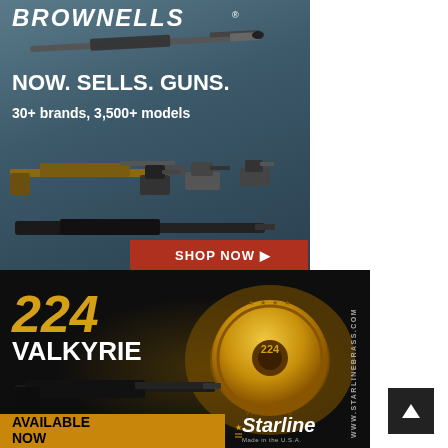[Figure (illustration): Brownells advertisement: dark blue-gray background with multiple firearms (sniper rifle, AR-style rifle, handguns, shotgun). Logo reads BROWNELLS with registered trademark. Large white bold text: NOW. SELLS. GUNS. Subtext: 30+ brands, 3,500+ models. Red button: SHOP NOW with arrow.]
[Figure (illustration): Starline Brass advertisement: dark/gold background. Large gold italic text: 224. White bold text: VALKYRIE. Shows a rifle and a large gold cartridge base stamped with 224 VALKYRIE. Gold banner at bottom: AVAILABLE NOW. Starline logo in white/gold. URL text vertically: WWW.STARLINEBRASS.COM.]